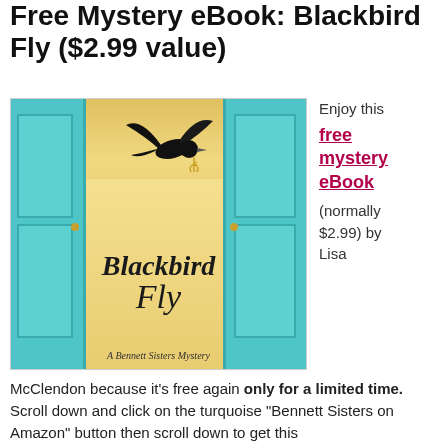Free Mystery eBook: Blackbird Fly ($2.99 value)
[Figure (photo): Book cover for 'Blackbird Fly: A Bennett Sisters Mystery' showing a blackbird flying with a key in its mouth, framed by two teal/turquoise doors against a golden yellow sky background, with the title in elegant script.]
Enjoy this free mystery eBook (normally $2.99) by Lisa
McClendon because it's free again only for a limited time. Scroll down and click on the turquoise "Bennett Sisters on Amazon" button then scroll down to get this